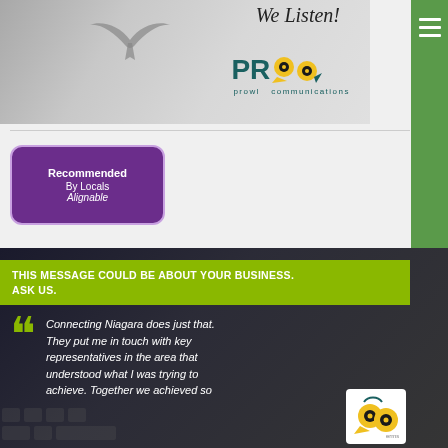[Figure (logo): Prowl Communications banner with owl silhouette and 'We Listen!' text against grey background]
[Figure (logo): Green hamburger menu button on right sidebar]
[Figure (logo): Recommended By Locals Alignable badge - purple rounded rectangle]
[Figure (photo): Dark background section with keyboard/person photo overlay]
THIS MESSAGE COULD BE ABOUT YOUR BUSINESS. ASK US.
Connecting Niagara does just that. They put me in touch with key representatives in the area that understood what I was trying to achieve. Together we achieved so
[Figure (logo): Small Prowl Communications owl logo in white box bottom right]